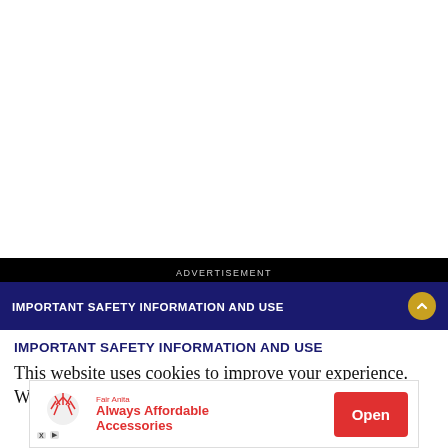ADVERTISEMENT
IMPORTANT SAFETY INFORMATION AND USE
IMPORTANT SAFETY INFORMATION AND USE
This website uses cookies to improve your experience. We'll assume you're ok with this, but you can opt-out if
[Figure (other): Advertisement banner for Fair Anita: Always Affordable Accessories with an Open button]